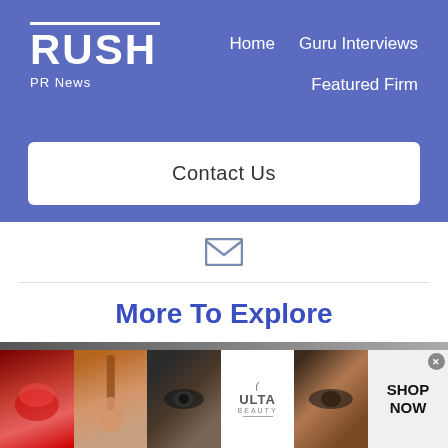RUSH PR News — Home | Guru Interviews | Featured Firm
Contact Us
[Figure (other): Envelope/mail icon in gray]
More To Explore
[Figure (other): Bottom advertisement banner showing makeup/beauty images, Ulta Beauty logo, and SHOP NOW button]